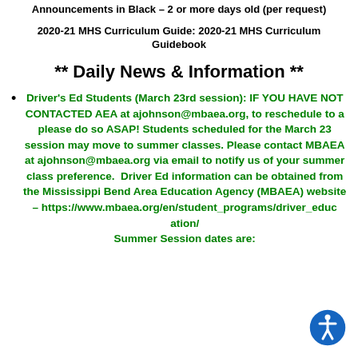Announcements in Black – 2 or more days old (per request)
2020-21 MHS Curriculum Guide: 2020-21 MHS Curriculum Guidebook
** Daily News & Information **
Driver's Ed Students (March 23rd session): IF YOU HAVE NOT CONTACTED AEA at ajohnson@mbaea.org, to reschedule to a please do so ASAP! Students scheduled for the March 23 session may move to summer classes. Please contact MBAEA at ajohnson@mbaea.org via email to notify us of your summer class preference.  Driver Ed information can be obtained from the Mississippi Bend Area Education Agency (MBAEA) website – https://www.mbaea.org/en/student_programs/driver_education/
Summer Session dates are: